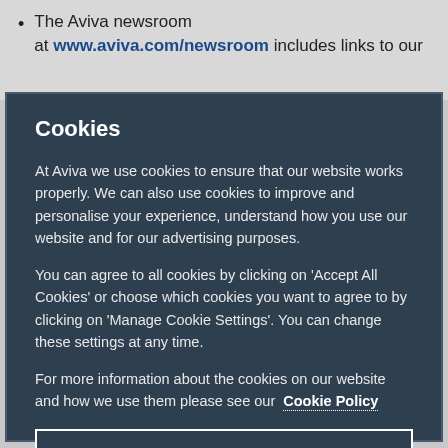The Aviva newsroom at www.aviva.com/newsroom includes links to our
Cookies
At Aviva we use cookies to ensure that our website works properly. We can also use cookies to improve and personalise your experience, understand how you use our website and for our advertising purposes.
You can agree to all cookies by clicking on ‘Accept All Cookies’ or choose which cookies you want to agree to by clicking on ‘Manage Cookie Settings’. You can change these settings at any time.
For more information about the cookies on our website and how we use them please see our Cookie Policy
MANAGE COOKIE SETTINGS